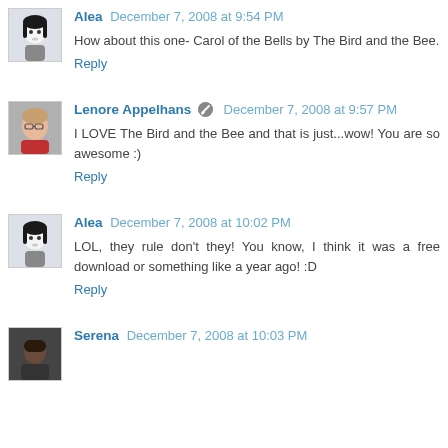[Figure (illustration): Avatar icon of Alea: stylized figure with black hair and white face on light background]
Alea December 7, 2008 at 9:54 PM
How about this one- Carol of the Bells by The Bird and the Bee.
Reply
[Figure (photo): Avatar photo of Lenore Appelhans: woman with glasses and red top]
Lenore Appelhans [edit icon] December 7, 2008 at 9:57 PM
I LOVE The Bird and the Bee and that is just...wow! You are so awesome :)
Reply
[Figure (illustration): Avatar icon of Alea: stylized figure with black hair and white face on light background]
Alea December 7, 2008 at 10:02 PM
LOL, they rule don't they! You know, I think it was a free download or something like a year ago! :D
Reply
[Figure (photo): Avatar photo of Serena: dark image of person]
Serena December 7, 2008 at 10:03 PM